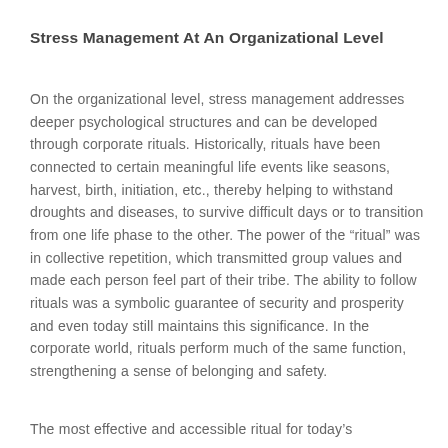Stress Management At An Organizational Level
On the organizational level, stress management addresses deeper psychological structures and can be developed through corporate rituals. Historically, rituals have been connected to certain meaningful life events like seasons, harvest, birth, initiation, etc., thereby helping to withstand droughts and diseases, to survive difficult days or to transition from one life phase to the other. The power of the “ritual” was in collective repetition, which transmitted group values and made each person feel part of their tribe. The ability to follow rituals was a symbolic guarantee of security and prosperity and even today still maintains this significance. In the corporate world, rituals perform much of the same function, strengthening a sense of belonging and safety.
The most effective and accessible ritual for today’s